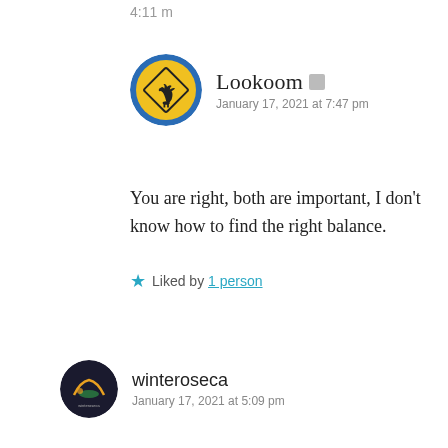4:11 m
[Figure (illustration): Circular avatar with blue border showing a yellow diamond moose crossing road sign]
Lookoom
January 17, 2021 at 7:47 pm
You are right, both are important, I don't know how to find the right balance.
Liked by 1 person
[Figure (illustration): Circular avatar with dark background showing winteroseca logo/icon]
winteroseca
January 17, 2021 at 5:09 pm